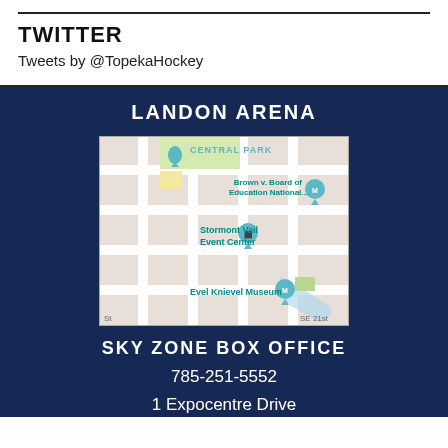TWITTER
Tweets by @TopekaHockey
LANDON ARENA
[Figure (map): Google Maps view of the area around Landon Arena in Topeka, KS, showing landmarks: Brown v. Board of Education National..., Stormont Vail Event Center, Evel Knievel Museum, and street labels including SE 21st.]
SKY ZONE BOX OFFICE
785-251-5552
1 Expocentre Drive